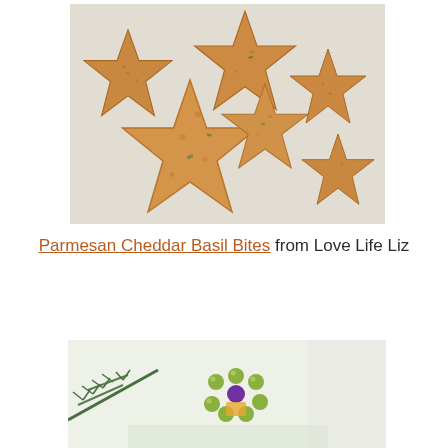[Figure (photo): Star-shaped Parmesan Cheddar Basil crackers piled on a light linen cloth, golden-brown with visible herb flecks]
Parmesan Cheddar Basil Bites from Love Life Liz
[Figure (photo): Holiday food arrangement with green grapes formed into a flower shape with a dark grape center, pine branches, and other garnishes on a light background]